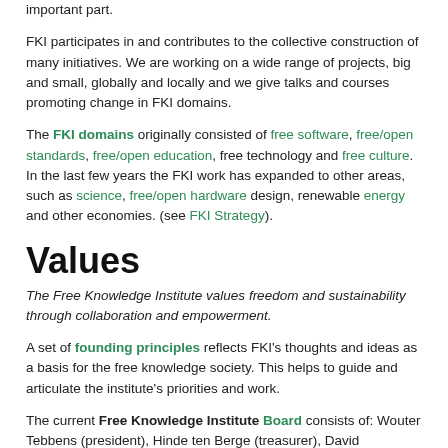important part.
FKI participates in and contributes to the collective construction of many initiatives. We are working on a wide range of projects, big and small, globally and locally and we give talks and courses promoting change in FKI domains.
The FKI domains originally consisted of free software, free/open standards, free/open education, free technology and free culture. In the last few years the FKI work has expanded to other areas, such as science, free/open hardware design, renewable energy and other economies. (see FKI Strategy).
Values
The Free Knowledge Institute values freedom and sustainability through collaboration and empowerment.
A set of founding principles reflects FKI's thoughts and ideas as a basis for the free knowledge society. This helps to guide and articulate the institute's priorities and work.
The current Free Knowledge Institute Board consists of: Wouter Tebbens (president), Hinde ten Berge (treasurer), David